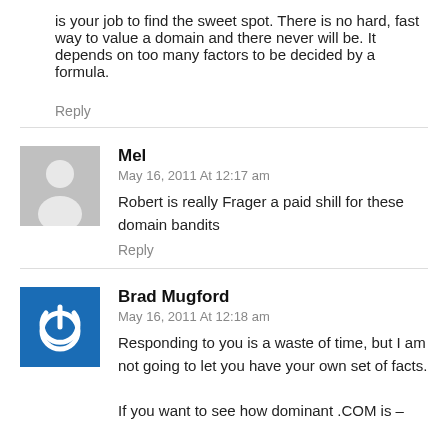is your job to find the sweet spot. There is no hard, fast way to value a domain and there never will be. It depends on too many factors to be decided by a formula.
Reply
Mel
May 16, 2011 At 12:17 am
Robert is really Frager a paid shill for these domain bandits
Reply
Brad Mugford
May 16, 2011 At 12:18 am
Responding to you is a waste of time, but I am not going to let you have your own set of facts.
If you want to see how dominant .COM is –